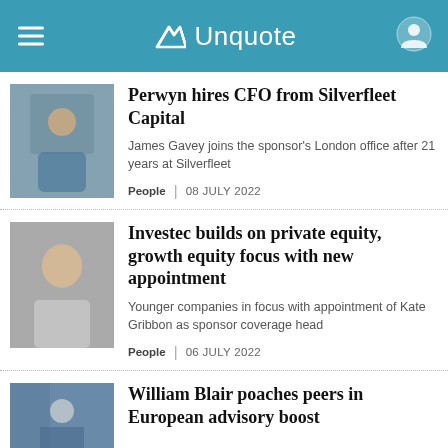Unquote
Perwyn hires CFO from Silverfleet Capital
James Gavey joins the sponsor's London office after 21 years at Silverfleet
People | 08 JULY 2022
Investec builds on private equity, growth equity focus with new appointment
Younger companies in focus with appointment of Kate Gribbon as sponsor coverage head
People | 06 JULY 2022
William Blair poaches peers in European advisory boost